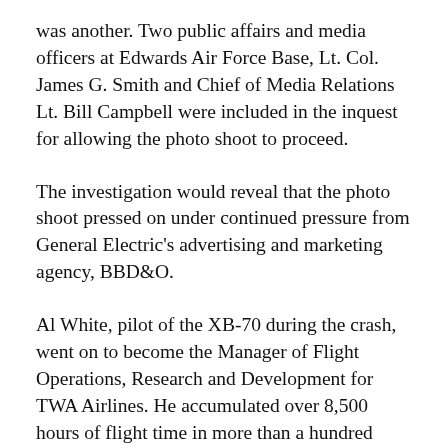was another. Two public affairs and media officers at Edwards Air Force Base, Lt. Col. James G. Smith and Chief of Media Relations Lt. Bill Campbell were included in the inquest for allowing the photo shoot to proceed.
The investigation would reveal that the photo shoot pressed on under continued pressure from General Electric's advertising and marketing agency, BBD&O.
Al White, pilot of the XB-70 during the crash, went on to become the Manager of Flight Operations, Research and Development for TWA Airlines. He accumulated over 8,500 hours of flight time in more than a hundred different aircraft and served as expert witness in aircraft accident litigation. Until his death in 2006 he lived in the aviation Mecca of Tucson, Arizona